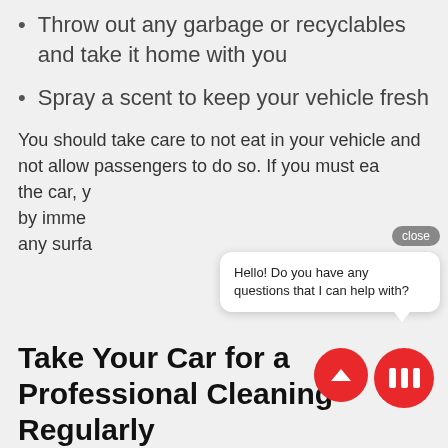Throw out any garbage or recyclables and take it home with you
Spray a scent to keep your vehicle fresh
You should take care to not eat in your vehicle and not allow passengers to do so. If you must eat in the car, y... by imme... any surfa...
Take Your Car for a Professional Cleaning Regularly